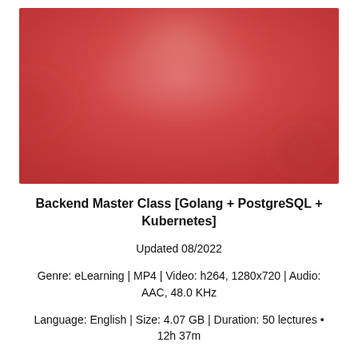[Figure (photo): Blurred red-toned thumbnail image for the Backend Master Class course]
Backend Master Class [Golang + PostgreSQL + Kubernetes]
Updated 08/2022
Genre: eLearning | MP4 | Video: h264, 1280x720 | Audio: AAC, 48.0 KHz
Language: English | Size: 4.07 GB | Duration: 50 lectures • 12h 37m